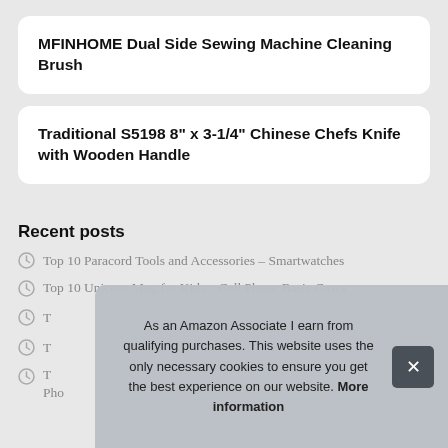MFINHOME Dual Side Sewing Machine Cleaning Brush
Traditional S5198 8" x 3-1/4" Chinese Chefs Knife with Wooden Handle
Recent posts
Top 10 Paracord Tools and Accessories – Smartwatches
Top 10 Unicorn Mug for Kids – Cell Phone Basic Cases
T… – Cell Phone Cases…
T…
T… Pho…
As an Amazon Associate I earn from qualifying purchases. This website uses the only necessary cookies to ensure you get the best experience on our website. More information